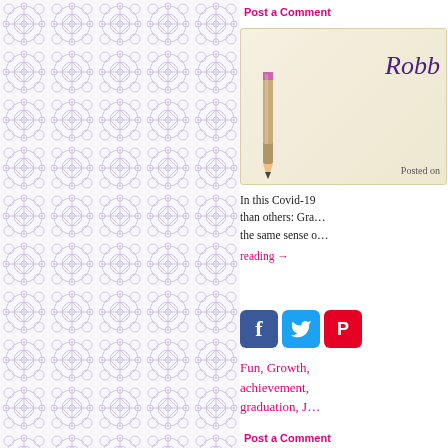[Figure (illustration): Decorative tile/mandala pattern in lavender/purple on white background, arranged in a grid filling the left panel]
Post a Comment
[Figure (photo): Author card with cream/parchment background, a pencil image on the left, cursive name 'Robb' on the right, and 'Posted on' text below]
In this Covid-19 … than others: Gra… the same sense o…
reading →
[Figure (infographic): Social media share icons: Facebook (blue), Twitter (light blue), Pinterest (red)]
Fun, Growth, achievement, graduation, J…
Post a Comment